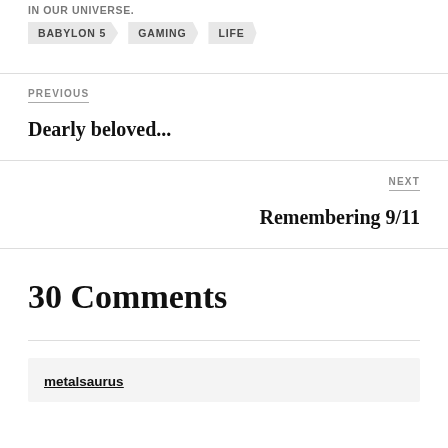in our universe.
BABYLON 5
GAMING
LIFE
PREVIOUS
Dearly beloved...
NEXT
Remembering 9/11
30 Comments
metalsaurus